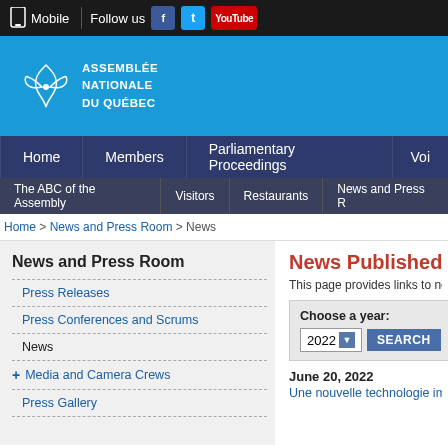Mobile | Follow us [Facebook] [Twitter] [YouTube]
[Figure (logo): Assemblée nationale du Québec logo with white fleur-de-lis symbol on blue background]
Home | Members | Parliamentary Proceedings | Voi...
The ABC of the Assembly | Visitors | Restaurants | News and Press R...
Home > News and Press Room > News
News and Press Room
Press Releases
Press Conferences and Scrums
News
+ Media and Camera Crews
Press Gallery
News Published b...
This page provides links to news p...
Choose a year: 2022 SEARCH
June 20, 2022
Une nouvelle technologie imp...